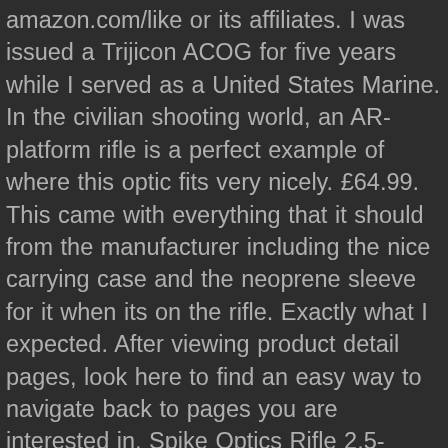amazon.com/like or its affiliates. I was issued a Trijicon ACOG for five years while I served as a United States Marine. In the civilian shooting world, an AR-platform rifle is a perfect example of where this optic fits very nicely. £64.99. This came with everything that it should from the manufacturer including the nice carrying case and the neoprene sleeve for it when its on the rifle. Exactly what I expected. After viewing product detail pages, look here to find an easy way to navigate back to pages you are interested in. Spike Optics Rifle 2.5-10x40ER Hunting Red/Green Dot Scope Airsoft Weapon Sight 4.1 out of 5 stars 48. In order to navigate out of this carousel please use your heading shortcut key to navigate to the next or previous heading. The Trijicon ACOG (Advanced Combat Optical Gunsight) 4x32 BAC is a fixed power, compact riflescope with a dual-illuminated reticle (tritium and fiber optics) for domination in bright to low/no light. In comparison to lotsâ¦ Their magnification scale range from 1.5× to 6×. Material: Forged aluminum. Prime members enjoy FREE Delivery and exclusive access to music, movies, TV shows, original audio series, and